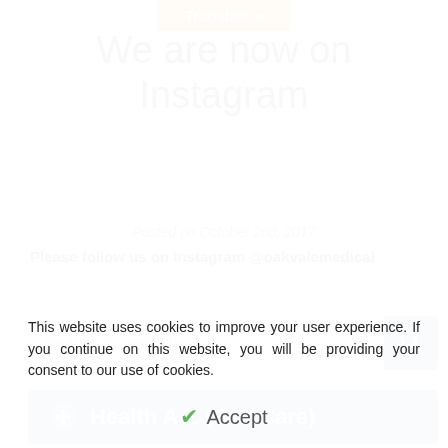[Figure (screenshot): Orange 'Translate »' button at top center of page]
We are now on Instagram
Posted on October 2nd, 2017
Please follow us on Instagram @oakvalemedical
[Figure (screenshot): Search bar with placeholder 'Search our website...' and blue search button with magnifying glass icon]
[Figure (screenshot): Blue bar with plus icon and text 'Health A-Z (Self Care)']
This website uses cookies to improve your user experience. If you continue on this website, you will be providing your consent to our use of cookies.
Accept